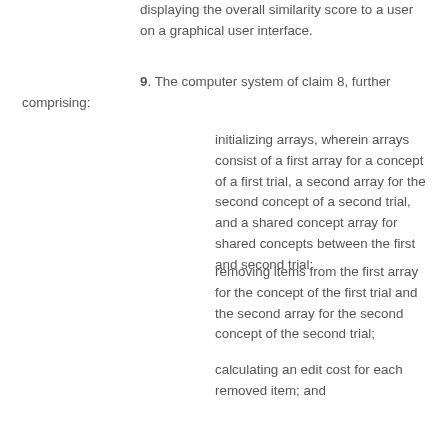displaying the overall similarity score to a user on a graphical user interface.
9. The computer system of claim 8, further comprising:
initializing arrays, wherein arrays consist of a first array for a concept of a first trial, a second array for the second concept of a second trial, and a shared concept array for shared concepts between the first and second trial;
removing items from the first array for the concept of the first trial and the second array for the second concept of the second trial;
calculating an edit cost for each removed item; and
accumulating the calculated edit cost.
10. The computer system of claim 8, further comprising:
using ontology to find related concepts between a first array for the concept of the first trial and the second array for the second concept of the second trial;